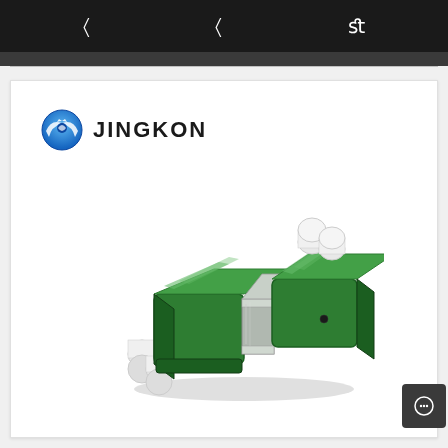navigation header with icons
[Figure (logo): JINGKON brand logo with blue globe/wing icon and bold text JINGKON]
[Figure (photo): LC/APC duplex fiber optic adapter in green color with white ceramic ferrule holders and metal coupling sleeve, photographed on white background. Brand: JINGKON.]